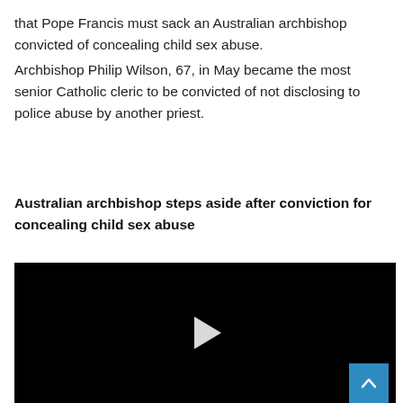that Pope Francis must sack an Australian archbishop convicted of concealing child sex abuse.
Archbishop Philip Wilson, 67, in May became the most senior Catholic cleric to be convicted of not disclosing to police abuse by another priest.
Australian archbishop steps aside after conviction for concealing child sex abuse
[Figure (other): Black video player with a white play button triangle in the center and a blue scroll-up button in the bottom-right corner]